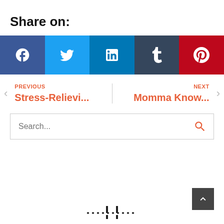Share on:
[Figure (infographic): Social share buttons: Facebook, Twitter, LinkedIn, Tumblr, Pinterest]
PREVIOUS
Stress-Relievi...
NEXT
Momma Know...
Search...
[Figure (logo): Site logo at bottom center]